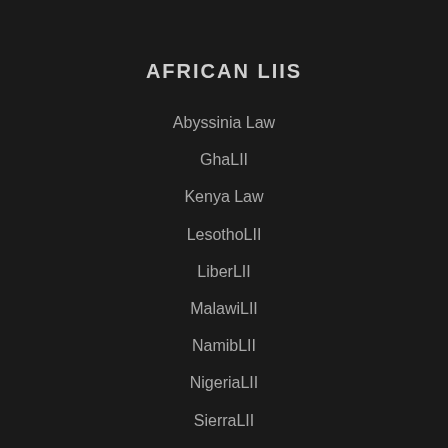AFRICAN LIIS
Abyssinia Law
GhaLII
Kenya Law
LesothoLII
LiberLII
MalawiLII
NamibLII
NigeriaLII
SierraLII
SAFLII
SeyLII